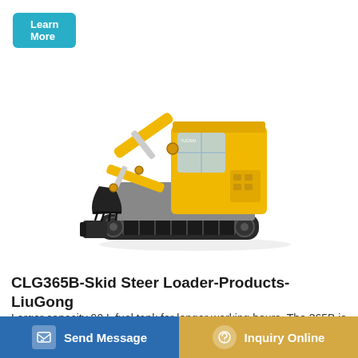Learn More
[Figure (photo): Yellow Yuchai mini excavator with black tracks, articulated arm with bucket, enclosed cab, shown in profile view on white background]
CLG365B-Skid Steer Loader-Products-LiuGong
Larger capacity 90 L fuel tank for longer working hours. The 365B is the ultimate in utility with a easy to use quick...Gong
Send Message
Inquiry Online